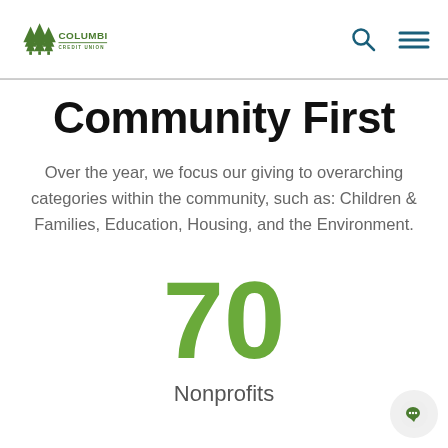[Figure (logo): Columbia Credit Union logo with green tree illustration and green text]
Community First
Over the year, we focus our giving to overarching categories within the community, such as: Children & Families, Education, Housing, and the Environment.
70
Nonprofits